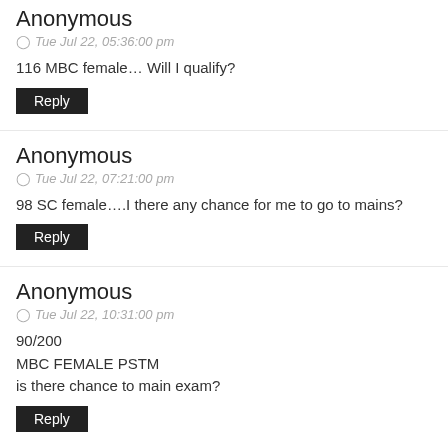Anonymous
Tue Jul 22, 05:36:00 pm
116 MBC female… Will I qualify?
Reply
Anonymous
Tue Jul 22, 07:21:00 pm
98 SC female….I there any chance for me to go to mains?
Reply
Anonymous
Tue Jul 22, 10:31:00 pm
90/200
MBC FEMALE PSTM
is there chance to main exam?
Reply
aziz
Tue Jul 22, 10:40:00 pm